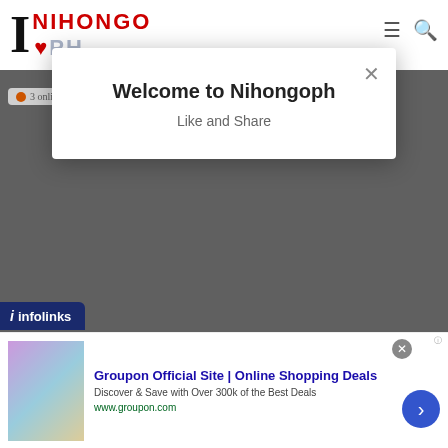[Figure (screenshot): Nihongoph website logo and navigation bar with hamburger menu and search icon]
Welcome to Nihongoph
Like and Share
[Figure (screenshot): Infolinks advertisement bar at bottom]
Groupon Official Site | Online Shopping Deals
Discover & Save with Over 300k of the Best Deals
www.groupon.com